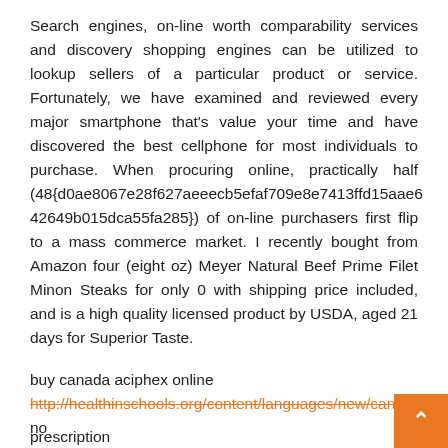Search engines, on-line worth comparability services and discovery shopping engines can be utilized to lookup sellers of a particular product or service. Fortunately, we have examined and reviewed every major smartphone that's value your time and have discovered the best cellphone for most individuals to purchase. When procuring online, practically half (48{d0ae8067e28f627aeeecb5efaf709e8e7413ffd15aae642649b015dca55fa285}) of on-line purchasers first flip to a mass commerce market. I recently bought from Amazon four (eight oz) Meyer Natural Beef Prime Filet Minon Steaks for only 0 with shipping price included, and is a high quality licensed product by USDA, aged 21 days for Superior Taste.
buy canada aciphex online http://healthinschools.org/content/languages/new/canada/aciphex.html no prescription